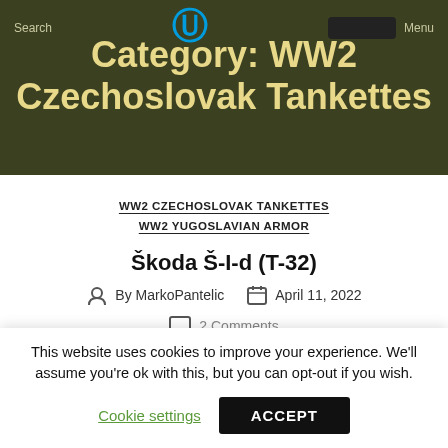Search | [PayPal logo] | [button] | Menu
Category: WW2 Czechoslovak Tankettes
WW2 CZECHOSLOVAK TANKETTES
WW2 YUGOSLAVIAN ARMOR
Škoda Š-I-d (T-32)
By MarkoPantelic   April 11, 2022
2 Comments
This website uses cookies to improve your experience. We'll assume you're ok with this, but you can opt-out if you wish.
Cookie settings   ACCEPT